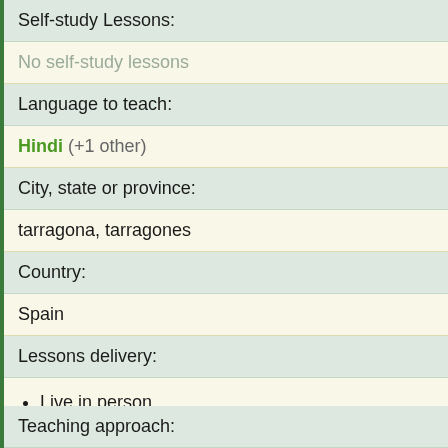Self-study Lessons:
No self-study lessons
Language to teach:
Hindi (+1 other)
City, state or province:
tarragona, tarragones
Country:
Spain
Lessons delivery:
Live in person
Email
Text chat
Video conferencing
Teaching approach: